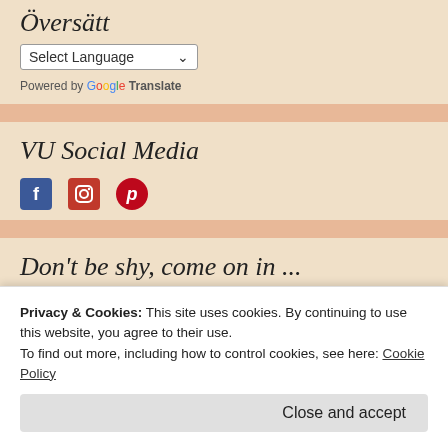Översätt
[Figure (screenshot): Select Language dropdown with arrow]
Powered by Google Translate
VU Social Media
[Figure (illustration): Social media icons: Facebook, Instagram, Pinterest]
Don't be shy, come on in ...
[Figure (photo): Black and white photo of a person]
Privacy & Cookies: This site uses cookies. By continuing to use this website, you agree to their use. To find out more, including how to control cookies, see here: Cookie Policy
Close and accept